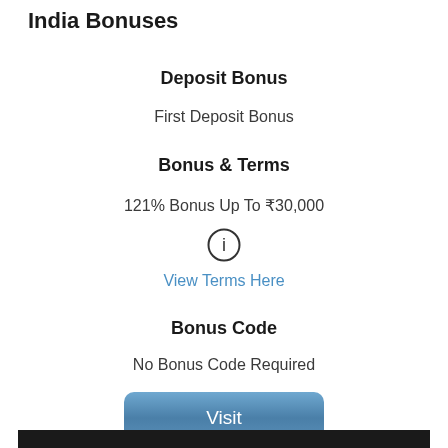India Bonuses
Deposit Bonus
First Deposit Bonus
Bonus & Terms
121% Bonus Up To ₹30,000
View Terms Here
Bonus Code
No Bonus Code Required
Visit